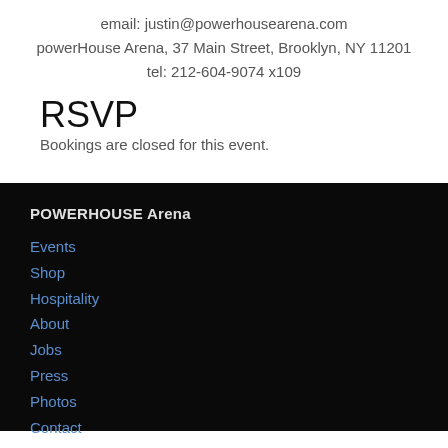email: justin@powerhousearena.com
powerHouse Arena, 37 Main Street, Brooklyn, NY 11201
tel: 212-604-9074 x109
RSVP
Bookings are closed for this event.
POWERHOUSE Arena
Events
Shop
Hospitality
About
Jobs
Press
Photos
Contact
Book Publishing